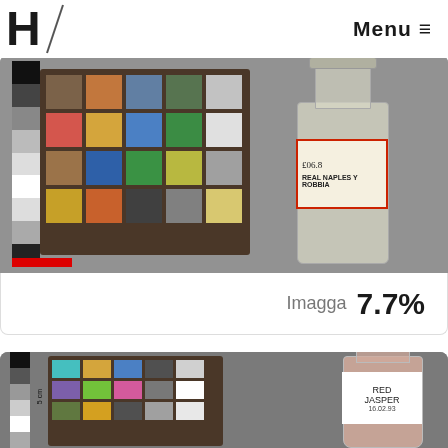H Menu ≡
[Figure (photo): Color checker card with color swatches and a glass bottle labeled 'REAL NAPLES ... ROBBIA' with label showing '£06.8', on a grey background. Color checker shows black/white ruler strip on left.]
Imagga  7.7%
[Figure (photo): Color checker card with color swatches and a small pink/mauve powder-filled bottle labeled 'RED JASPER 16.02.93', with a black cap, on a grey background. Ruler strip with '5 cm' marking on left.]